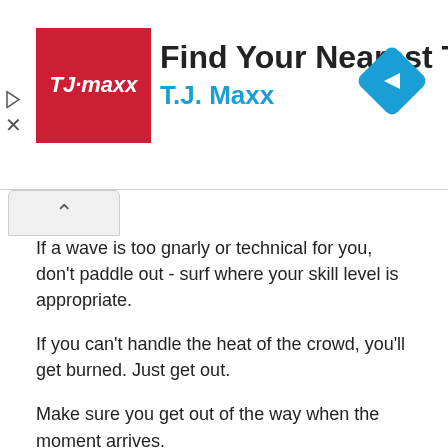[Figure (infographic): T.J. Maxx advertisement banner with red logo square, bold title 'Find Your Nearest T.J.Maxx', subtitle 'T.J. Maxx' in blue, and a blue navigation diamond icon on the right. Small play triangle and X close buttons on the left.]
If a wave is too gnarly or technical for you, don't paddle out - surf where your skill level is appropriate.
If you can't handle the heat of the crowd, you'll get burned. Just get out.
Make sure you get out of the way when the moment arrives.
When paddling back to the lineup, don't cut into people's lines. They're on a wave, so they get priority.
Above all, never drop in. Always look on either side and make sure you're not dropping in on anyone. This can be